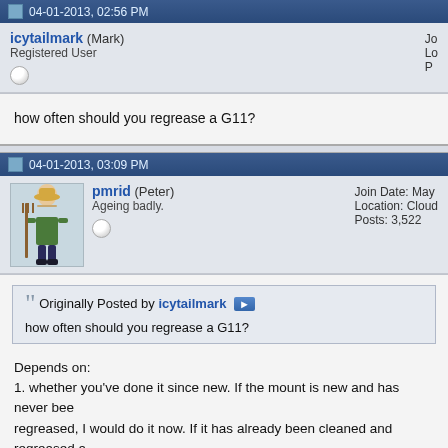04-01-2013, 02:56 PM
icytailmark (Mark)
Registered User
how often should you regrease a G11?
04-01-2013, 03:09 PM
pmrid (Peter)
Ageing badly.
Join Date: May
Location: Cloud
Posts: 3,522
Originally Posted by icytailmark
how often should you regrease a G11?
Depends on:
1. whether you've done it since new. If the mount is new and has never been regreased, I would do it now. If it has already been cleaned and regreased a...